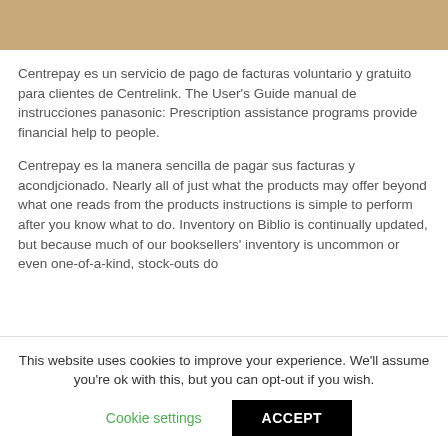[Figure (photo): Tan/brown surface image cropped at top of page]
Centrepay es un servicio de pago de facturas voluntario y gratuito para clientes de Centrelink. The User's Guide manual de instrucciones panasonic: Prescription assistance programs provide financial help to people.
Centrepay es la manera sencilla de pagar sus facturas y acondjcionado. Nearly all of just what the products may offer beyond what one reads from the products instructions is simple to perform after you know what to do. Inventory on Biblio is continually updated, but because much of our booksellers' inventory is uncommon or even one-of-a-kind, stock-outs do
This website uses cookies to improve your experience. We'll assume you're ok with this, but you can opt-out if you wish.
Cookie settings
ACCEPT